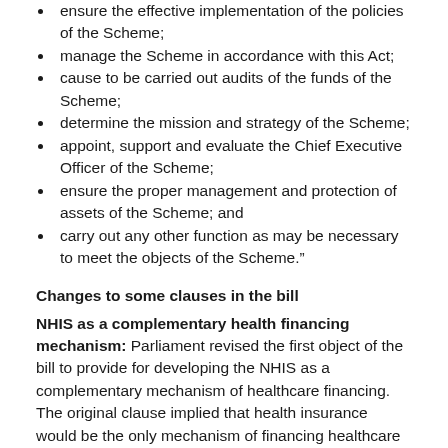ensure the effective implementation of the policies of the Scheme;
manage the Scheme in accordance with this Act;
cause to be carried out audits of the funds of the Scheme;
determine the mission and strategy of the Scheme;
appoint, support and evaluate the Chief Executive Officer of the Scheme;
ensure the proper management and protection of assets of the Scheme; and
carry out any other function as may be necessary to meet the objects of the Scheme.”
Changes to some clauses in the bill
NHIS as a complementary health financing mechanism: Parliament revised the first object of the bill to provide for developing the NHIS as a complementary mechanism of healthcare financing. The original clause implied that health insurance would be the only mechanism of financing healthcare in Uganda.